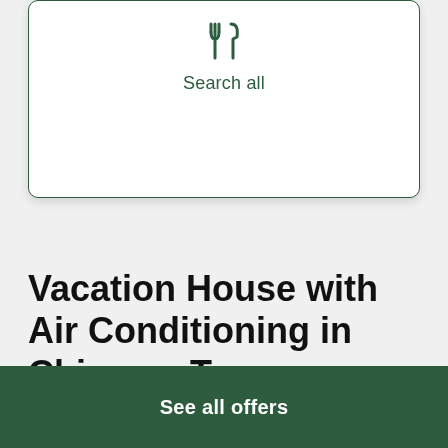[Figure (screenshot): White card with a fork and knife icon and 'Search all' text below it, with a dark green border and rounded corners]
Search all
Vacation House with Air Conditioning in Chimney Tops Overlook
See all offers